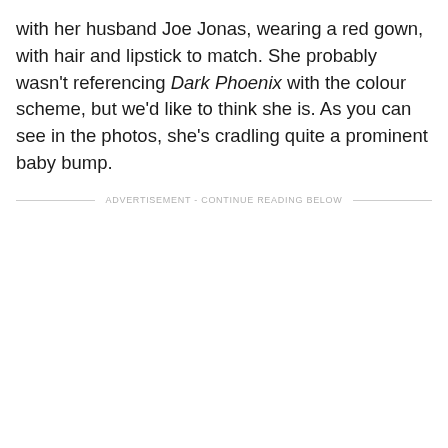with her husband Joe Jonas, wearing a red gown, with hair and lipstick to match. She probably wasn't referencing Dark Phoenix with the colour scheme, but we'd like to think she is. As you can see in the photos, she's cradling quite a prominent baby bump.
ADVERTISEMENT - CONTINUE READING BELOW